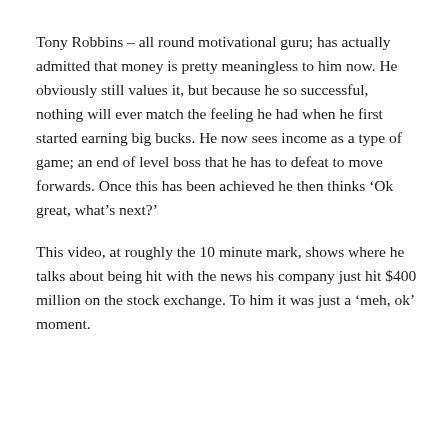Tony Robbins – all round motivational guru; has actually admitted that money is pretty meaningless to him now. He obviously still values it, but because he so successful, nothing will ever match the feeling he had when he first started earning big bucks. He now sees income as a type of game; an end of level boss that he has to defeat to move forwards. Once this has been achieved he then thinks ‘Ok great, what’s next?’
This video, at roughly the 10 minute mark, shows where he talks about being hit with the news his company just hit $400 million on the stock exchange. To him it was just a ‘meh, ok’ moment.